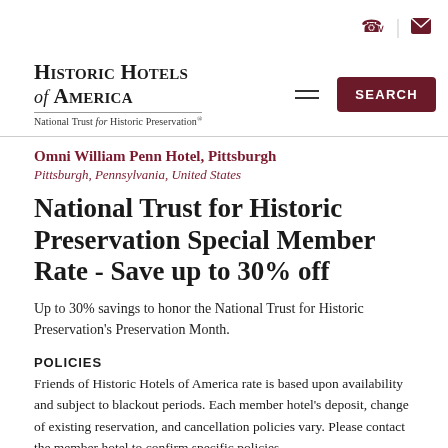Historic Hotels of America — National Trust for Historic Preservation
Omni William Penn Hotel, Pittsburgh
Pittsburgh, Pennsylvania, United States
National Trust for Historic Preservation Special Member Rate - Save up to 30% off
Up to 30% savings to honor the National Trust for Historic Preservation's Preservation Month.
POLICIES
Friends of Historic Hotels of America rate is based upon availability and subject to blackout periods. Each member hotel's deposit, change of existing reservation, and cancellation policies vary. Please contact the member hotel to confirm specific policies.